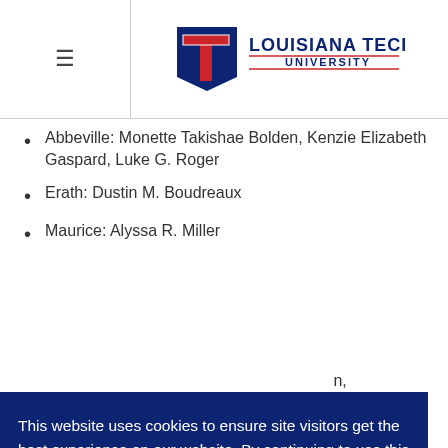Louisiana Tech University
Abbeville: Monette Takishae Bolden, Kenzie Elizabeth Gaspard, Luke G. Roger
Erath: Dustin M. Boudreaux
Maurice: Alyssa R. Miller
This website uses cookies to ensure site visitors get the best experience on our website. By continuing to use this site, you accept our use of cookies and Privacy Statement.  Learn more
I AGREE